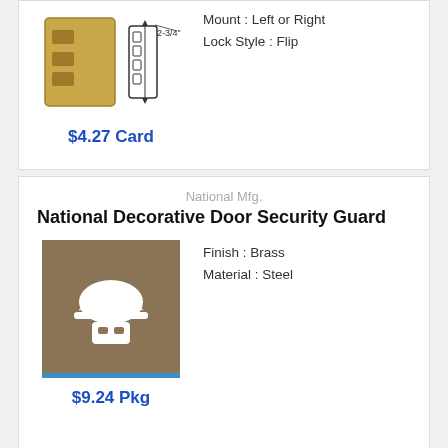[Figure (illustration): Product image of a door lock with a '2-3/4"' dimension label and an arrow, shown in brass/gold finish with a line drawing of the bolt mechanism.]
Mount : Left or Right
Lock Style : Flip
$4.27 Card
National Mfg.
National Decorative Door Security Guard
[Figure (illustration): Placeholder product image with tan/brown background showing a robot/worker icon with hard hat, with a blue stripe at the bottom.]
Finish : Brass
Material : Steel
$9.24 Pkg